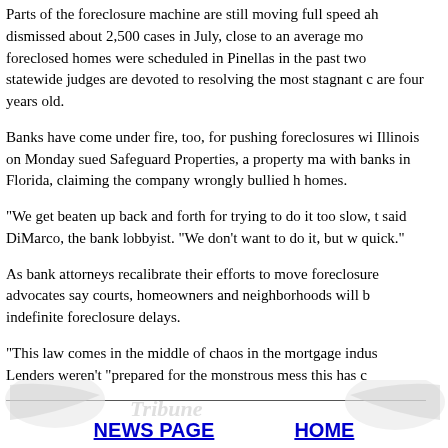Parts of the foreclosure machine are still moving full speed ahead. Courts dismissed about 2,500 cases in July, close to an average month. Sales of foreclosed homes were scheduled in Pinellas in the past two weeks. And statewide judges are devoted to resolving the most stagnant cases, many that are four years old.
Banks have come under fire, too, for pushing foreclosures without cause. Illinois on Monday sued Safeguard Properties, a property manager that contracts with banks in Florida, claiming the company wrongly bullied homeowners from their homes.
"We get beaten up back and forth for trying to do it too slow, too fast," said DiMarco, the bank lobbyist. "We don't want to do it, but we've got to be quick."
As bank attorneys recalibrate their efforts to move foreclosures along, advocates say courts, homeowners and neighborhoods will be hurt by indefinite foreclosure delays.
"This law comes in the middle of chaos in the mortgage industry," she said. Lenders weren't "prepared for the monstrous mess this has created."
NEWS PAGE   HOME